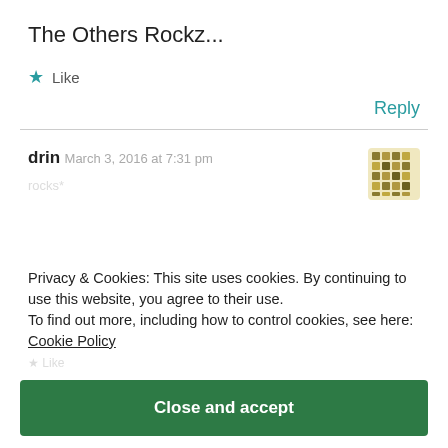The Others Rockz...
★ Like
Reply
drin
March 3, 2016 at 7:31 pm
[Figure (illustration): User avatar icon with decorative mosaic pattern in olive/gold colors]
Privacy & Cookies: This site uses cookies. By continuing to use this website, you agree to their use.
To find out more, including how to control cookies, see here:
Cookie Policy
Close and accept